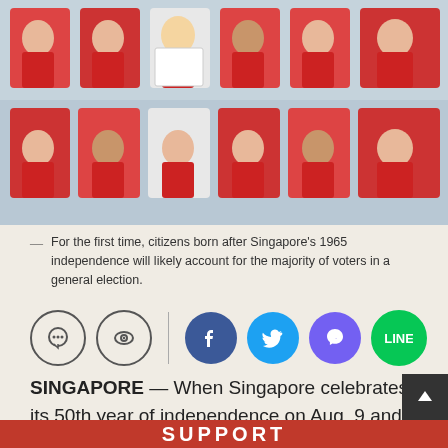[Figure (photo): Children in red uniforms sitting in stadium seats; one child in the center holds up a white sign/paper]
For the first time, citizens born after Singapore's 1965 independence will likely account for the majority of voters in a general election.
[Figure (infographic): Social sharing icons: comment bubble, eye/watch icon, vertical divider, Facebook (blue), Twitter (light blue), Viber (purple), Line (green)]
SINGAPORE — When Singapore celebrates its 50th year of independence on Aug. 9 and its older citizens eulogise the country's economic feats, its ruling party founded by the late Lee Kuan Yew faces an unprecedented wave of young voters who may not be as nostalgic.